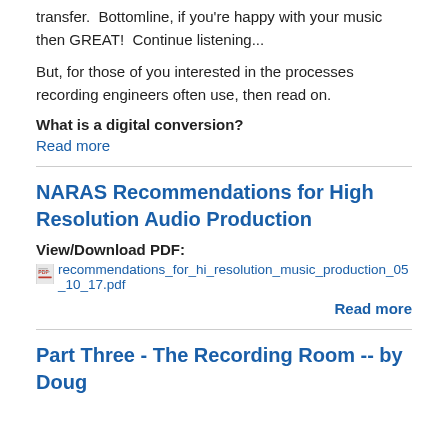transfer.  Bottomline, if you're happy with your music then GREAT!  Continue listening...
But, for those of you interested in the processes recording engineers often use, then read on.
What is a digital conversion?
Read more
NARAS Recommendations for High Resolution Audio Production
View/Download PDF:
recommendations_for_hi_resolution_music_production_05_10_17.pdf
Read more
Part Three - The Recording Room -- by Doug